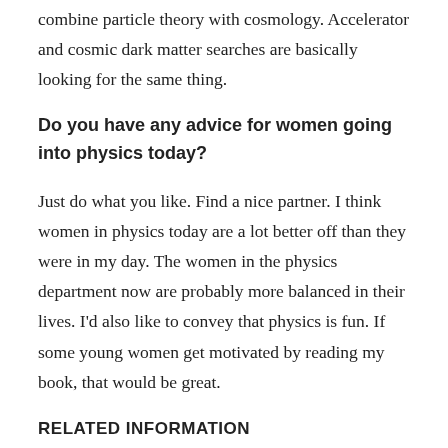combine particle theory with cosmology. Accelerator and cosmic dark matter searches are basically looking for the same thing.
Do you have any advice for women going into physics today?
Just do what you like. Find a nice partner. I think women in physics today are a lot better off than they were in my day. The women in the physics department now are probably more balanced in their lives. I'd also like to convey that physics is fun. If some young women get motivated by reading my book, that would be great.
RELATED INFORMATION